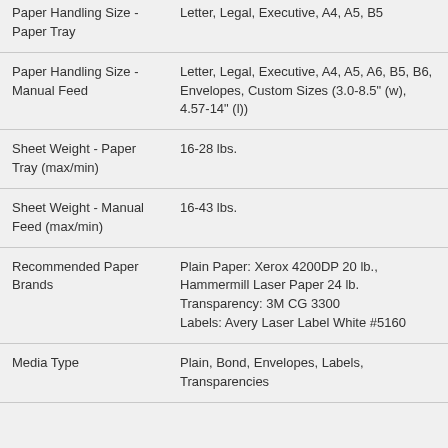| Property | Value |
| --- | --- |
| Paper Handling Size - Paper Tray | Letter, Legal, Executive, A4, A5, B5 |
| Paper Handling Size - Manual Feed | Letter, Legal, Executive, A4, A5, A6, B5, B6, Envelopes, Custom Sizes (3.0-8.5" (w), 4.57-14" (l)) |
| Sheet Weight - Paper Tray (max/min) | 16-28 lbs. |
| Sheet Weight - Manual Feed (max/min) | 16-43 lbs. |
| Recommended Paper Brands | Plain Paper: Xerox 4200DP 20 lb., Hammermill Laser Paper 24 lb.
Transparency: 3M CG 3300
Labels: Avery Laser Label White #5160 |
| Media Type | Plain, Bond, Envelopes, Labels, Transparencies |